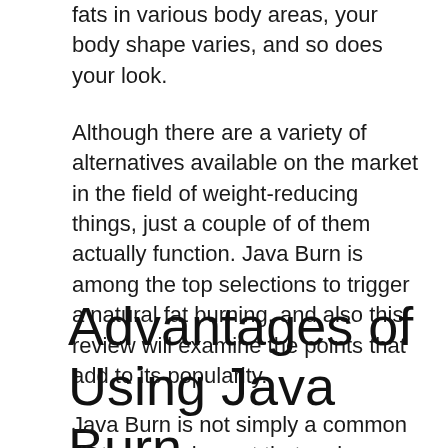fats in various body areas, your body shape varies, and so does your look.
Although there are a variety of alternatives available on the market in the field of weight-reducing things, just a couple of of them actually function. Java Burn is among the top selections to trigger a natural fat burning, and also this review will examine the points that add to its popularity.
Advantages of Using Java Burn
Java Burn is not simply a common dietary supplement that makes unbacked weight-reduction cases. It is backed with scientific